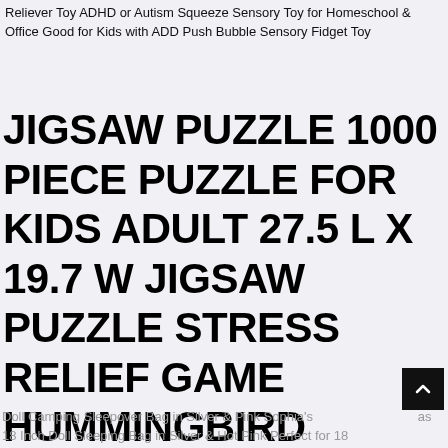Reliever Toy ADHD or Autism Squeeze Sensory Toy for Homeschool & Office Good for Kids with ADD Push Bubble Sensory Fidget Toy
JIGSAW PUZZLE 1000 PIECE PUZZLE FOR KIDS ADULT 27.5 L X 19.7 W JIGSAW PUZZLE STRESS RELIEF GAME HUMMINGBIRD GARDEN
Doll Camping Sleepover Bag in Silver & Pink Sophia's as 18 Inch Doll Sleeping Bag in Silver & Hot Pink Perfect for 18